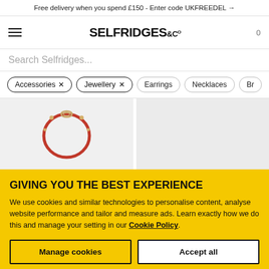Free delivery when you spend £150 - Enter code UKFREEDEL →
[Figure (logo): Selfridges & Co logo with hamburger menu and cart icon]
Search Selfridges...
Accessories ×
Jewellery ×
Earrings
Necklaces
Br...
[Figure (photo): Product image of a red and gold bracelet/bangle on a light grey background]
GIVING YOU THE BEST EXPERIENCE
We use cookies and similar technologies to personalise content, analyse website performance and tailor and measure ads. Learn exactly how we do this and manage your setting in our Cookie Policy.
Manage cookies
Accept all